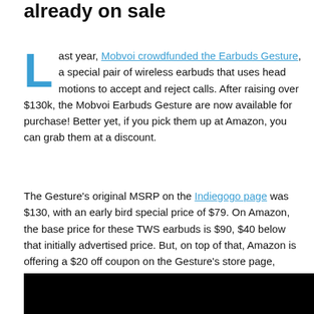already on sale
Last year, Mobvoi crowdfunded the Earbuds Gesture, a special pair of wireless earbuds that uses head motions to accept and reject calls. After raising over $130k, the Mobvoi Earbuds Gesture are now available for purchase! Better yet, if you pick them up at Amazon, you can grab them at a discount.
The Gesture's original MSRP on the Indiegogo page was $130, with an early bird special price of $79. On Amazon, the base price for these TWS earbuds is $90, $40 below that initially advertised price. But, on top of that, Amazon is offering a $20 off coupon on the Gesture's store page, bringing the earbuds down to just $70. That's lower than the early bird price already!
[Figure (photo): Black bar at bottom of page, likely bottom portion of an image or video thumbnail]